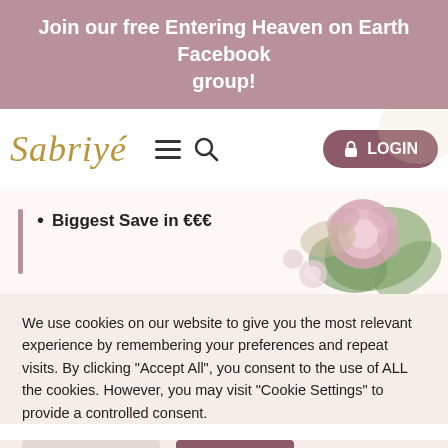Join our free Entering Heaven on Earth Facebook group!
[Figure (logo): Sabriyé script logo in gold italic font with decorative underline]
[Figure (screenshot): Navigation bar with hamburger menu icon, search icon, and LOGIN button in mauve rounded rectangle]
Biggest Save in €€€
[Figure (illustration): Floral watercolor illustration featuring pink peonies, green leaves, and light pink flowers]
We use cookies on our website to give you the most relevant experience by remembering your preferences and repeat visits. By clicking "Accept All", you consent to the use of ALL the cookies. However, you may visit "Cookie Settings" to provide a controlled consent.
Cookie Settings
Accept All